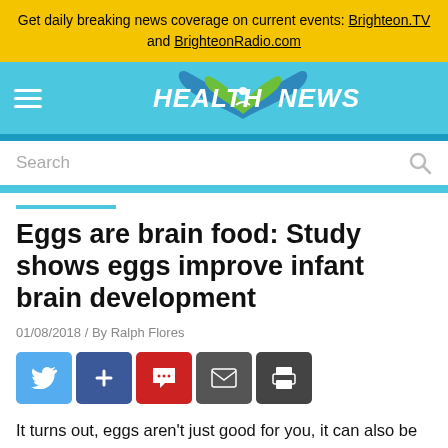Get daily breaking news coverage on current events: Brighteon.TV and BrighteonRadio.com
[Figure (logo): Health News logo with teal heart and green leaf icon, white bold italic text]
Search
Eggs are brain food: Study shows eggs improve infant brain development
01/08/2018 / By Ralph Flores
[Figure (other): Social sharing buttons: Twitter (blue), Google+ (dark blue), Comment (red), Email (dark gray), Print (dark gray)]
It turns out, eggs aren't just good for you, it can also be